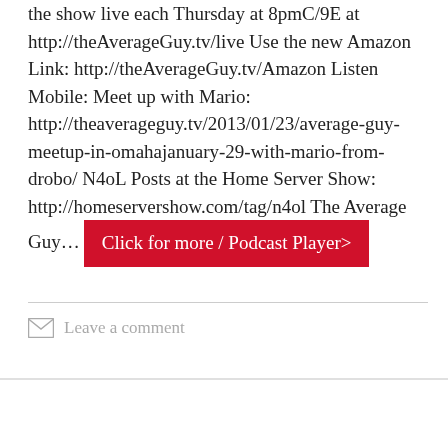the show live each Thursday at 8pmC/9E at http://theAverageGuy.tv/live Use the new Amazon Link: http://theAverageGuy.tv/Amazon Listen Mobile: Meet up with Mario: http://theaverageguy.tv/2013/01/23/average-guy-meetup-in-omahajanuary-29-with-mario-from-drobo/ N4oL Posts at the Home Server Show: http://homeservershow.com/tag/n4ol The Average Guy… Click for more / Podcast Player>
Leave a comment